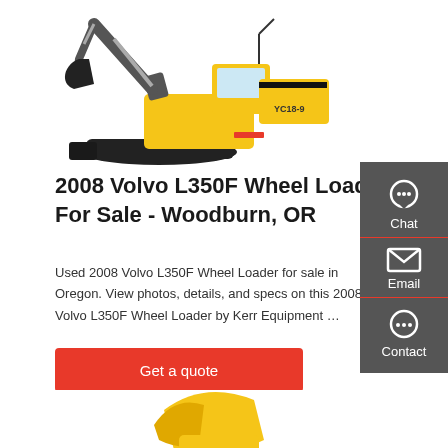[Figure (photo): Yellow mini excavator (YC18-9) with black tracks, shown from the side on white background]
2008 Volvo L350F Wheel Loader For Sale - Woodburn, OR
Used 2008 Volvo L350F Wheel Loader for sale in Oregon. View photos, details, and specs on this 2008 Volvo L350F Wheel Loader by Kerr Equipment …
[Figure (screenshot): Side panel with Chat, Email, and Contact buttons on dark grey background]
[Figure (photo): Partial view of yellow wheel loader at bottom of page]